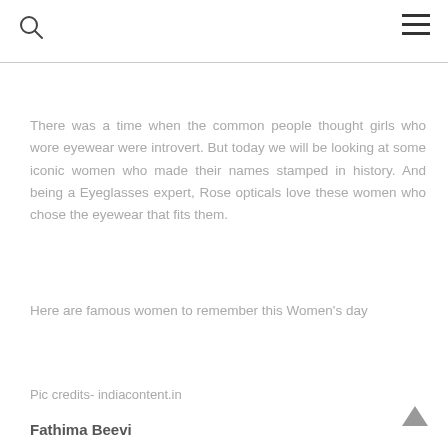There was a time when the common people thought girls who wore eyewear were introvert. But today we will be looking at some iconic women who made their names stamped in history. And being a Eyeglasses expert, Rose opticals love these women who chose the eyewear that fits them.
Here are famous women to remember this Women's day
Pic credits- indiacontent.in
Fathima Beevi